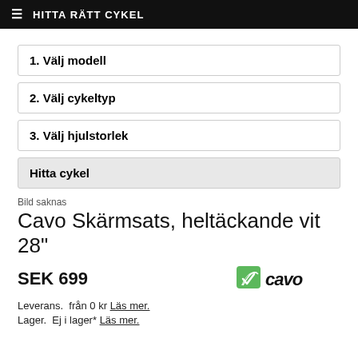HITTA RÄTT CYKEL
1. Välj modell
2. Välj cykeltyp
3. Välj hjulstorlek
Hitta cykel
Bild saknas
Cavo Skärmsats, heltäckande vit 28"
SEK 699
[Figure (logo): Cavo brand logo with green leaf icon and bold black italic text 'cavo']
Leverans.  från 0 kr Läs mer.
Lager.  Ej i lager* Läs mer.